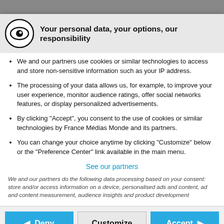Your personal data, your options, our responsibility
We and our partners use cookies or similar technologies to access and store non-sensitive information such as your IP address.
The processing of your data allows us, for example, to improve your user experience, monitor audience ratings, offer social networks features, or display personalized advertisements.
By clicking "Accept", you consent to the use of cookies or similar technologies by France Médias Monde and its partners.
You can change your choice anytime by clicking "Customize" below or the "Preference Center" link available in the main menu.
See our partners
We and our partners do the following data processing based on your consent: store and/or access information on a device, personalised ads and content, ad and content measurement, audience insights and product development